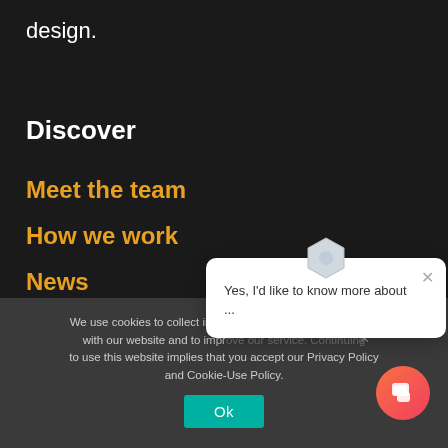design.
Discover
Meet the team
How we work
News
Glossary
Jobs @ Semantica
We use cookies to collect information about how you interact with our website and to improve our service. Continuing to use this website implies that you accept our Privacy Policy and Cookie-Use Policy.
Ok
[Figure (screenshot): Chat popup widget showing text 'Yes, I'd like to know more about ...' with a close button and a hexagonal bot icon at top]
[Figure (illustration): Orange-red circular chat launcher button in bottom-right corner]